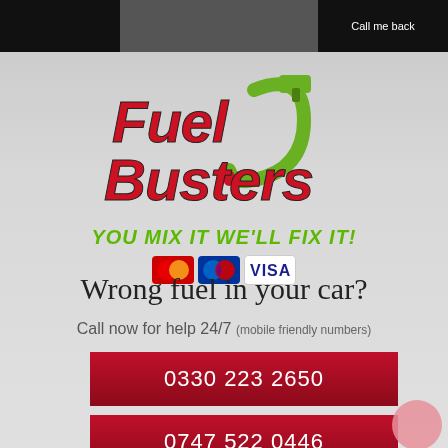Call me back
[Figure (logo): FuelBusters logo with fuel nozzle graphic in red and green]
YOU MIX IT WE'LL FIX IT!
[Figure (illustration): Payment card icons: Mastercard, Maestro, Visa]
Wrong fuel in your car?
Call now for help 24/7 (mobile friendly numbers)
0330 223 2650
0747 522 0446